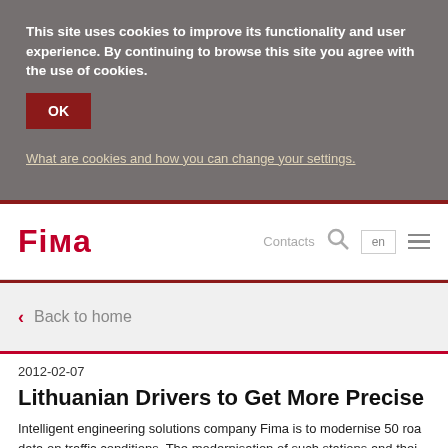This site uses cookies to improve its functionality and user experience. By continuing to browse this site you agree with the use of cookies.
OK
What are cookies and how you can change your settings.
[Figure (logo): Fima company logo in red text]
Contacts
en
Back to home
2012-02-07
Lithuanian Drivers to Get More Precise I
Intelligent engineering solutions company Fima is to modernise 50 roa data on traffic conditions. The modernisation of such stations and thei